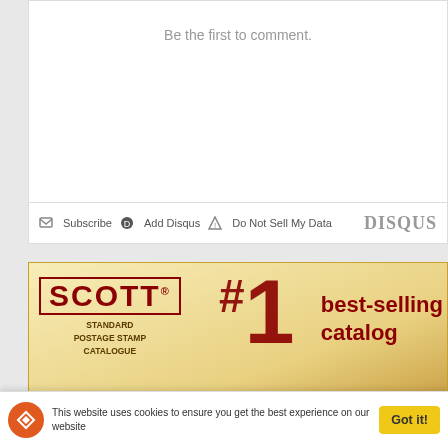Be the first to comment.
Subscribe  Add Disqus  Do Not Sell My Data  DISQUS
[Figure (illustration): Scott Standard Postage Stamp Catalogue advertisement banner: cream/gold background, SCOTT logo in dark red bold text, tagline #1 best-selling catalog in large dark red text]
[Figure (illustration): Daniel T. Kelleher Auctions advertisement: Weekly sales resume in September, Daniel T. Kelleher Auctions in script, Weekly Online Sales banner in blue]
This website uses cookies to ensure you get the best experience on our website